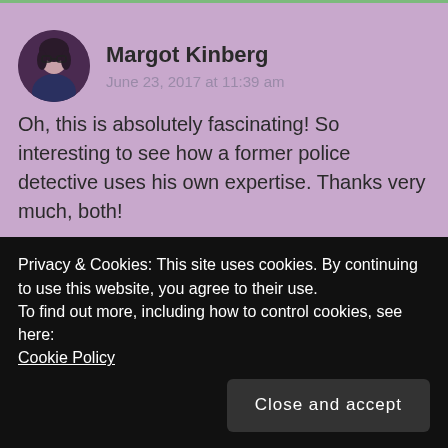[Figure (photo): Circular avatar photo of Margot Kinberg, a woman with dark hair and glasses, wearing a dark blue top.]
Margot Kinberg
June 23, 2017 at 11:39 am
Oh, this is absolutely fascinating! So interesting to see how a former police detective uses his own expertise. Thanks very much, both!
★ Liked by 1 person
REPLY
Privacy & Cookies: This site uses cookies. By continuing to use this website, you agree to their use.
To find out more, including how to control cookies, see here:
Cookie Policy
Close and accept
acquaintance, I'm glad you found the